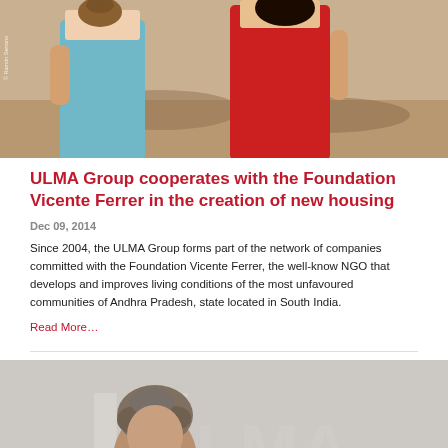[Figure (photo): Two women in colorful saris (teal/blue and red) carrying clay pots on their heads, photographed outdoors in India. Photo credit: © Ramón Serrano]
ULMA Group cooperates with the Foundation Vicente Ferrer in the creation of new housing
Dec 09, 2014
Since 2004, the ULMA Group forms part of the network of companies committed with the Foundation Vicente Ferrer, the well-know NGO that develops and improves living conditions of the most unfavoured communities of Andhra Pradesh, state located in South India.
Read More…
[Figure (photo): A man with curly grey hair photographed in front of a large white ULMA logo on a wall]